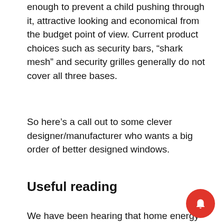enough to prevent a child pushing through it, attractive looking and economical from the budget point of view. Current product choices such as security bars, “shark mesh” and security grilles generally do not cover all three bases.
So here’s a call out to some clever designer/manufacturer who wants a big order of better designed windows.
Useful reading
We have been hearing that home energy